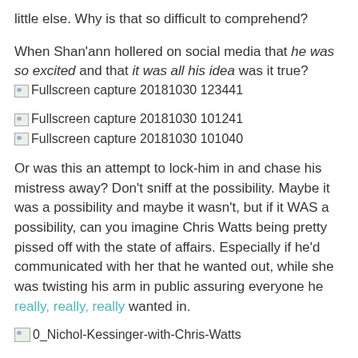little else. Why is that so difficult to comprehend?
When Shan'ann hollered on social media that he was so excited and that it was all his idea was it true?
[image] Fullscreen capture 20181030 123441
[Figure (screenshot): Fullscreen capture 20181030 101241]
[Figure (screenshot): Fullscreen capture 20181030 101040]
Or was this an attempt to lock-him in and chase his mistress away? Don't sniff at the possibility. Maybe it was a possibility and maybe it wasn't, but if it WAS a possibility, can you imagine Chris Watts being pretty pissed off with the state of affairs. Especially if he'd communicated with her that he wanted out, while she was twisting his arm in public assuring everyone he really, really, really wanted in.
[Figure (photo): 0_Nichol-Kessinger-with-Chris-Watts]